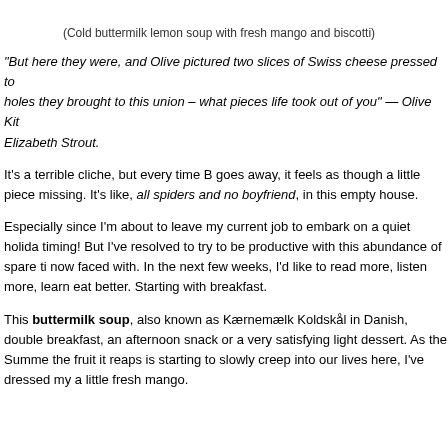(Cold buttermilk lemon soup with fresh mango and biscotti)
“But here they were, and Olive pictured two slices of Swiss cheese pressed to—the holes they brought to this union – what pieces life took out of you” — Olive Kitteridge, Elizabeth Strout.
It’s a terrible cliche, but every time B goes away, it feels as though a little piece is missing. It’s like, all spiders and no boyfriend, in this empty house.
Especially since I’m about to leave my current job to embark on a quiet holiday—timing! But I’ve resolved to try to be productive with this abundance of spare time I’m now faced with. In the next few weeks, I’d like to read more, listen more, learn more, eat better. Starting with breakfast.
This buttermilk soup, also known as Kærnemælk Koldsкål in Danish, doubles as a breakfast, an afternoon snack or a very satisfying light dessert. As the Summer and the fruit it reaps is starting to slowly creep into our lives here, I’ve dressed my soup with a little fresh mango.